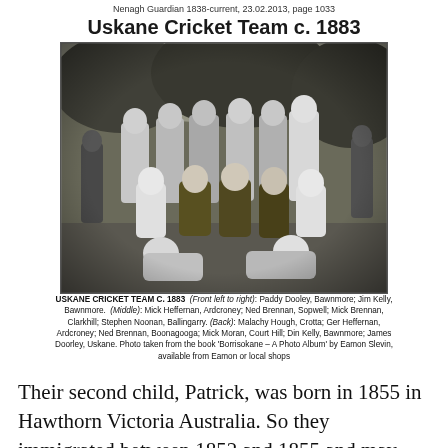Nenagh Guardian 1838-current, 23.02.2013, page 1033
Uskane Cricket Team c. 1883
[Figure (photo): Black and white group photograph of the Uskane Cricket Team circa 1883, showing approximately 13 men posed in three rows outdoors with trees in the background.]
USKANE CRICKET TEAM C. 1883  (Front left to right): Paddy Dooley, Bawnmore; Jim Kelly, Bawnmore.  (Middle): Mick Heffernan, Ardcroney; Ned Brennan, Sopwell; Mick Brennan, Clarkhill; Stephen Noonan, Ballingarry. (Back): Malachy Hough, Crotta; Ger Heffernan, Ardcroney; Ned Brennan, Boonagooga; Mick Moran, Court Hill; Din Kelly, Bawnmore; James Doorley, Uskane. Photo taken from the book 'Borrisokane – A Photo Album' by Eamon Slevin, available from Eamon or local shops
Their second child, Patrick, was born in 1855 in Hawthorn Victoria Australia. So they immigrated between 1852 and 1855 and may